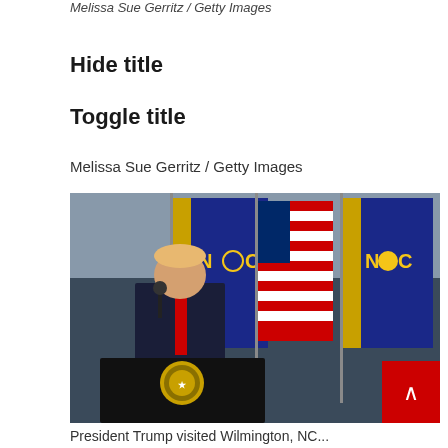Melissa Sue Gerritz / Getty Images
Hide title
Toggle title
Melissa Sue Gerritz / Getty Images
[Figure (photo): President Trump speaking at a podium with the presidential seal outdoors, with American flags and North Carolina state flags visible in the background.]
President Trump visited Wilmington, NC...